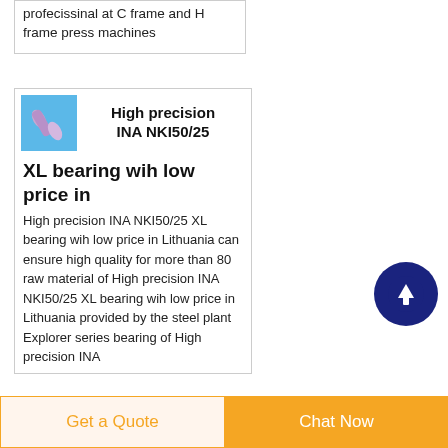profecissinal at C frame and H frame press machines
High precision INA NKI50/25 XL bearing wih low price in
High precision INA NKI50/25 XL bearing wih low price in Lithuania can ensure high quality for more than 80 raw material of High precision INA NKI50/25 XL bearing wih low price in Lithuania provided by the steel plant Explorer series bearing of High precision INA
[Figure (illustration): Blue/light-blue cylindrical bearing part on blue background thumbnail]
[Figure (other): Dark navy circle with upward arrow icon (scroll to top button)]
Get a Quote   Chat Now